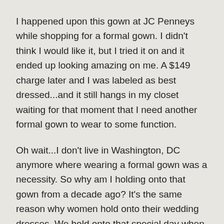I happened upon this gown at JC Penneys while shopping for a formal gown.  I didn't think I would like it, but I tried it on and it ended up looking amazing on me.  A $149 charge later and I was labeled as best dressed...and it still hangs in my closet waiting for that moment that I need another formal gown to wear to some function.
Oh wait...I don't live in Washington, DC anymore where wearing a formal gown was a necessity.  So why am I holding onto that gown from a decade ago?  It's the same reason why women hold onto their wedding dresses.  We hold onto that special day when all eyes were on us as being the most beautiful woman in the room.  Will we ever wear the dress again?  Not likely.
So we're keeping it for the memory?  To pass it on to